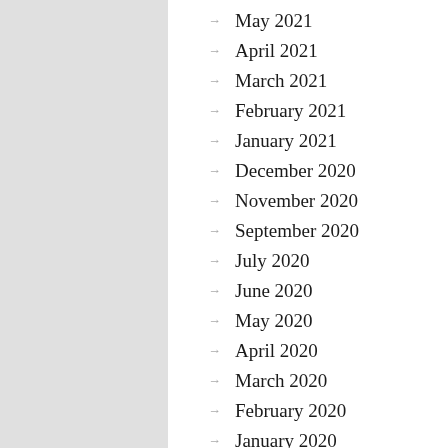May 2021
April 2021
March 2021
February 2021
January 2021
December 2020
November 2020
September 2020
July 2020
June 2020
May 2020
April 2020
March 2020
February 2020
January 2020